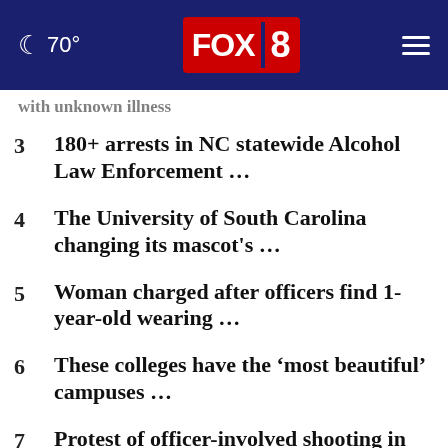70° FOX 8
with unknown illness
3  180+ arrests in NC statewide Alcohol Law Enforcement …
4  The University of South Carolina changing its mascot's …
5  Woman charged after officers find 1-year-old wearing …
6  These colleges have the 'most beautiful' campuses …
7  Protest of officer-involved shooting in Downtown …
8  2 killed in fatal Winston-Salem crash on US-52